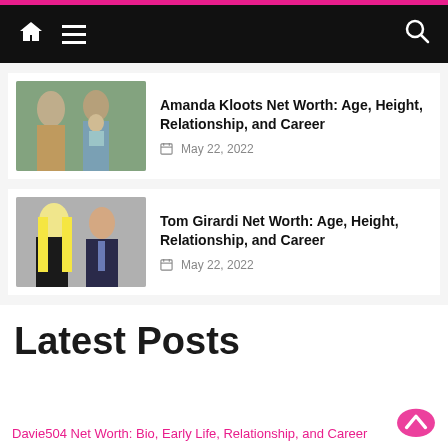Navigation bar with home icon, hamburger menu, and search icon
[Figure (photo): Family photo: woman, man holding baby outdoors]
Amanda Kloots Net Worth: Age, Height, Relationship, and Career
May 22, 2022
[Figure (photo): Couple photo: blonde woman and older man in suit]
Tom Girardi Net Worth: Age, Height, Relationship, and Career
May 22, 2022
Latest Posts
Davie504 Net Worth: Bio, Early Life, Relationship, and Career